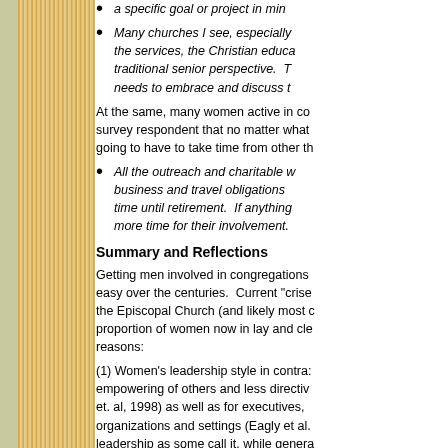a specific goal or project in mind.
Many churches I see, especially the services, the Christian education, traditional senior perspective. The needs to embrace and discuss t
At the same, many women active in congregation survey respondent that no matter what going to have to take time from other t
All the outreach and charitable w business and travel obligations time until retirement. If anything more time for their involvement.
Summary and Reflections
Getting men involved in congregations easy over the centuries. Current "crises the Episcopal Church (and likely most proportion of women now in lay and cl reasons:
(1) Women's leadership style in contrast empowering of others and less directive et. al, 1998) as well as for executives, organizations and settings (Eagly et al. leadership as some call it, while genera is also more acceptable to men with w this present study shows that simply t